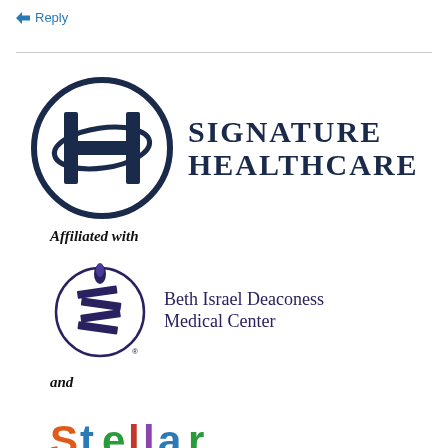Reply
[Figure (logo): Signature Healthcare logo — circular H emblem with 'SIGNATURE HEALTHCARE' text in dark navy serif capitals]
Affiliated with
[Figure (logo): Beth Israel Deaconess Medical Center logo — circular emblem with stylized S/flame icon and 'Beth Israel Deaconess Medical Center' text in dark blue]
and
[Figure (logo): Partial logo at bottom of page — colorful text beginning to appear, cut off]